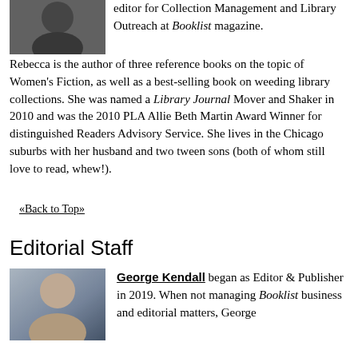[Figure (photo): Headshot photo of a woman with dark hair, cropped at top of page]
editor for Collection Management and Library Outreach at Booklist magazine. Rebecca is the author of three reference books on the topic of Women's Fiction, as well as a best-selling book on weeding library collections. She was named a Library Journal Mover and Shaker in 2010 and was the 2010 PLA Allie Beth Martin Award Winner for distinguished Readers Advisory Service. She lives in the Chicago suburbs with her husband and two tween sons (both of whom still love to read, whew!).
«Back to Top»
Editorial Staff
[Figure (photo): Headshot photo of George Kendall, a bald man in business attire]
George Kendall began as Editor & Publisher in 2019. When not managing Booklist business and editorial matters, George